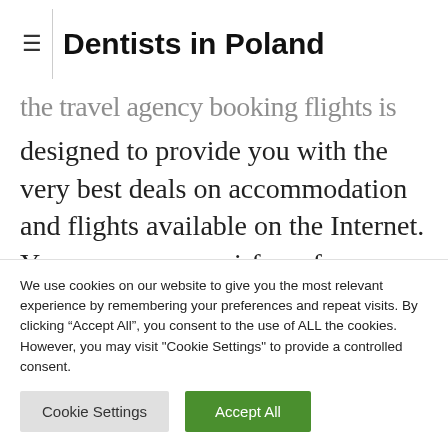Dentists in Poland
...the travel agency booking flights is designed to provide you with the very best deals on accommodation and flights available on the Internet. You can compare airfares from over 1,000 airlines and search more than 800,000 hotels in 205 countries. We work with data from more than 10 online...
We use cookies on our website to give you the most relevant experience by remembering your preferences and repeat visits. By clicking "Accept All", you consent to the use of ALL the cookies. However, you may visit "Cookie Settings" to provide a controlled consent.